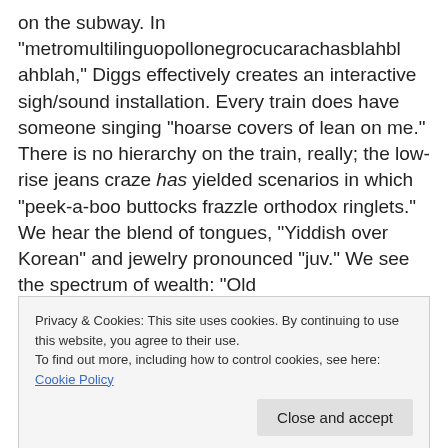on the subway. In “metromultilinguopollonegrocucarachasblahblahblah,” Diggs effectively creates an interactive sigh/sound installation. Every train does have someone singing “hoarse covers of lean on me.” There is no hierarchy on the train, really; the low-rise jeans craze has yielded scenarios in which “peek-a-boo buttocks frazzle orthodox ringlets.” We hear the blend of tongues, “Yiddish over Korean” and jewelry pronounced “juv.” We see the spectrum of wealth: “Old
Privacy & Cookies: This site uses cookies. By continuing to use this website, you agree to their use.
To find out more, including how to control cookies, see here: Cookie Policy
subverted/of all subverting time.” The poem